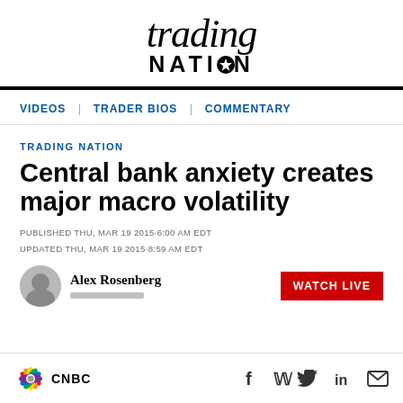[Figure (logo): Trading Nation logo with italic 'trading' in serif font above bold 'NATION' with a star replacing the O]
VIDEOS | TRADER BIOS | COMMENTARY
TRADING NATION
Central bank anxiety creates major macro volatility
PUBLISHED THU, MAR 19 2015·6:00 AM EDT
UPDATED THU, MAR 19 2015·8:59 AM EDT
Alex Rosenberg
[Figure (logo): CNBC logo with colorful peacock feathers and CNBC text]
[Figure (other): Social media icons: Facebook, Twitter, LinkedIn, Email]